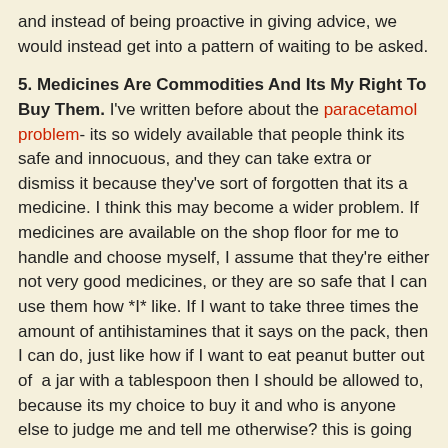and instead of being proactive in giving advice, we would instead get into a pattern of waiting to be asked.
5. Medicines Are Commodities And Its My Right To Buy Them. I've written before about the paracetamol problem- its so widely available that people think its safe and innocuous, and they can take extra or dismiss it because they've sort of forgotten that its a medicine. I think this may become a wider problem. If medicines are available on the shop floor for me to handle and choose myself, I assume that they're either not very good medicines, or they are so safe that I can use them how *I* like. If I want to take three times the amount of antihistamines that it says on the pack, then I can do, just like how if I want to eat peanut butter out of  a jar with a tablespoon then I should be allowed to, because its my choice to buy it and who is anyone else to judge me and tell me otherwise? this is going to be particularly problematic with codeine-containing medicines and similar.
Anyway, those are a few thoughts for now. I may add to them as time goes on. What do you think?